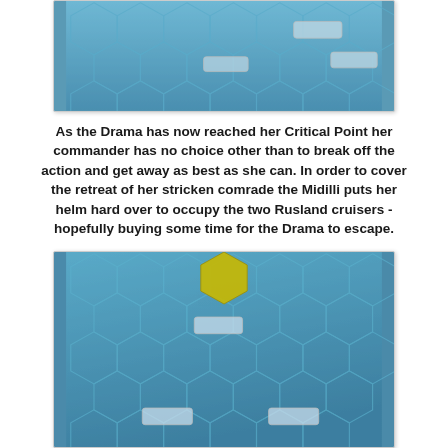[Figure (photo): Top photo showing a blue hexagonal game board (naval wargame) with ship pieces visible on hexes, viewed from above.]
As the Drama has now reached her Critical Point her commander has no choice other than to break off the action and get away as best as she can. In order to cover the retreat of her stricken comrade the Midilli puts her helm hard over to occupy the two Rusland cruisers - hopefully buying some time for the Drama to escape.
[Figure (photo): Bottom photo showing a blue hexagonal game board (naval wargame) with ship pieces and a yellow hex piece visible, viewed from above.]